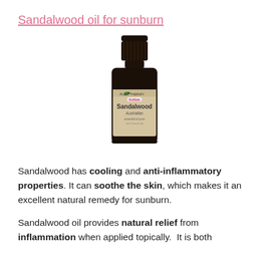Sandalwood oil for sunburn
[Figure (photo): A small dark glass bottle of Plant Therapy Sandalwood Australian essential oil with a black cap and beige label]
Sandalwood has cooling and anti-inflammatory properties. It can soothe the skin, which makes it an excellent natural remedy for sunburn.
Sandalwood oil provides natural relief from inflammation when applied topically.  It is both